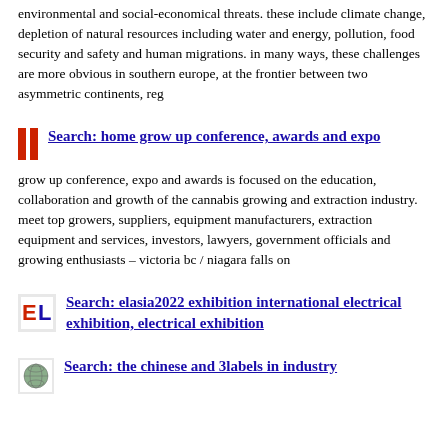environmental and social-economical threats. these include climate change, depletion of natural resources including water and energy, pollution, food security and safety and human migrations. in many ways, these challenges are more obvious in southern europe, at the frontier between two asymmetric continents, reg
Search: home grow up conference, awards and expo
grow up conference, expo and awards is focused on the education, collaboration and growth of the cannabis growing and extraction industry. meet top growers, suppliers, equipment manufacturers, extraction equipment and services, investors, lawyers, government officials and growing enthusiasts – victoria bc / niagara falls on
Search: elasia2022 exhibition international electrical exhibition, electrical exhibition
Search: the chinese and 3labels in industry